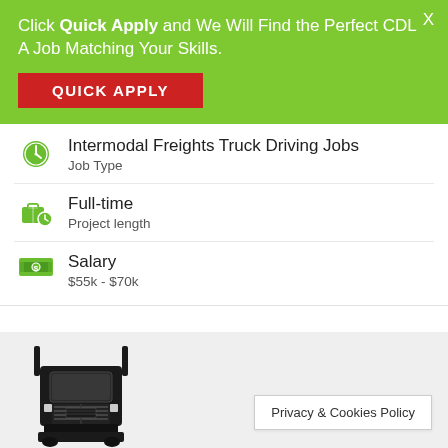Click Quick Apply and We Will Find the Perfect CDL A Job Matching Your Skills.
QUICK APPLY
Intermodal Freights Truck Driving Jobs
Job Type
Full-time
Project length
Salary
$55k - $70k
[Figure (illustration): Black and white illustration of a semi truck / big rig viewed from the front-left angle]
Privacy & Cookies Policy